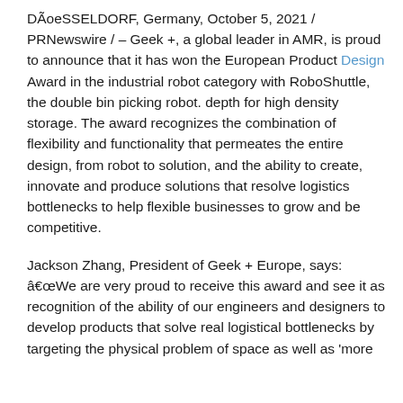automated solutions that have a real impact on the world of warehousing.
DÃoeSSELDORF, Germany, October 5, 2021 / PRNewswire / – Geek +, a global leader in AMR, is proud to announce that it has won the European Product Design Award in the industrial robot category with RoboShuttle, the double bin picking robot. depth for high density storage. The award recognizes the combination of flexibility and functionality that permeates the entire design, from robot to solution, and the ability to create, innovate and produce solutions that resolve logistics bottlenecks to help flexible businesses to grow and be competitive.
Jackson Zhang, President of Geek + Europe, says: â€œWe are very proud to receive this award and see it as recognition of the ability of our engineers and designers to develop products that solve real logistical bottlenecks by targeting the physical problem of space as well as 'more